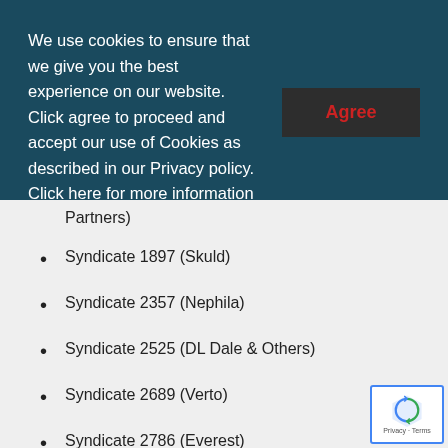We use cookies to ensure that we give you the best experience on our website. Click agree to proceed and accept our use of Cookies as described in our Privacy policy. Click here for more information on our Privacy policy including how and why we use Cookies.
Partners)
Syndicate 1897 (Skuld)
Syndicate 2357 (Nephila)
Syndicate 2525 (DL Dale & Others)
Syndicate 2689 (Verto)
Syndicate 2786 (Everest)
Syndicate 4242 and SPA 6123 (Paraline)
Syndicate 5886 (Blenheim)
Syndicate 3268 (Agora)